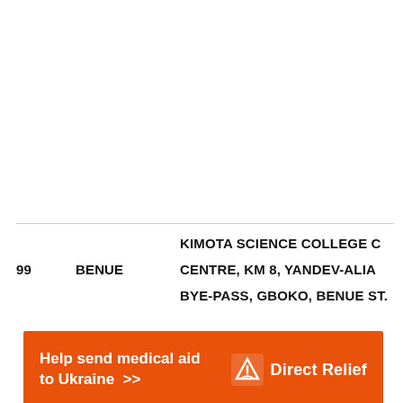| # | State | Address |
| --- | --- | --- |
| 99 | BENUE | KIMOTA SCIENCE COLLEGE C CENTRE, KM 8, YANDEV-ALIA BYE-PASS, GBOKO, BENUE ST. |
[Figure (infographic): Orange banner advertisement for Direct Relief: 'Help send medical aid to Ukraine >>' with Direct Relief logo on the right.]